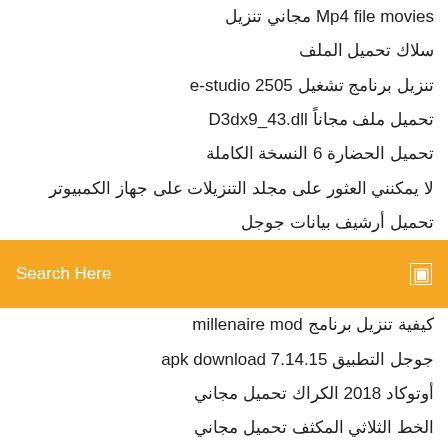Mp4 file movies مجاني تنزيل
سلاك تحميل الملف
تنزيل برنامج تشغيل e-studio 2505
تحميل ملف مجاناً D3dx9_43.dll
تحميل الحضارة 6 النسخة الكاملة
لا يمكنني العثور على مجلد التنزيلات على جهاز الكمبيوتر
تحميل أرشيف بيانات جوجل
Search Here
كيفية تنزيل برنامج millenaire mod
جوجل التطبيق 7.14.15 apk download
أوتوكاد 2018 الكراك تحميل مجاني
الخط الثلاثي المكثف تحميل مجاني
تحميل مودم سامسونج المحمول usb لنظام التشغيل windows 10
تحميل محرك بحث بنج لنظام التشغيل windows 7
تحميل usb iso لينكس يعيش
ليل واين _الأنوار_ تنزيل النسخة الأصلية
مربع على الألبوم p تحميل لعبة